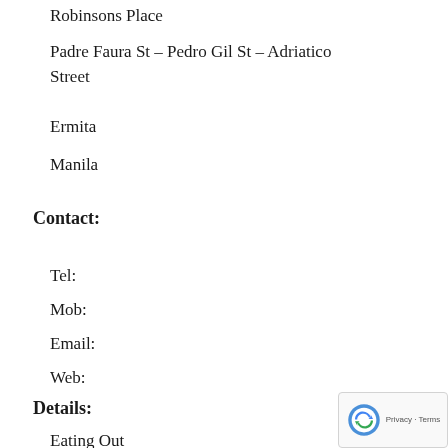Robinsons Place
Padre Faura St – Pedro Gil St – Adriatico Street
Ermita
Manila
Contact:
Tel:
Mob:
Email:
Web:
Details:
Eating Out